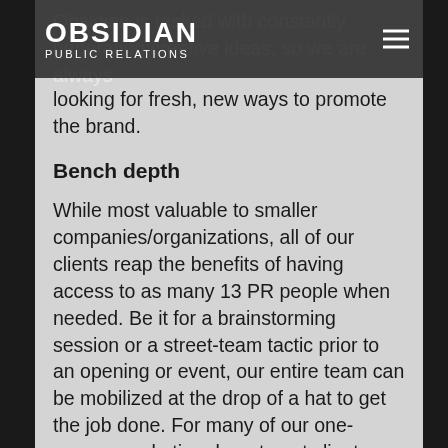OBSIDIAN PUBLIC RELATIONS
Obsidian is tasked with constantly generating creative ideas, so we are always looking for fresh, new ways to promote the brand.
Bench depth
While most valuable to smaller companies/organizations, all of our clients reap the benefits of having access to as many 13 PR people when needed. Be it for a brainstorming session or a street-team tactic prior to an opening or event, our entire team can be mobilized at the drop of a hat to get the job done. For many of our one-person marketing department clients, our team allows them to achieve much more than they could ever accomplish alone on a